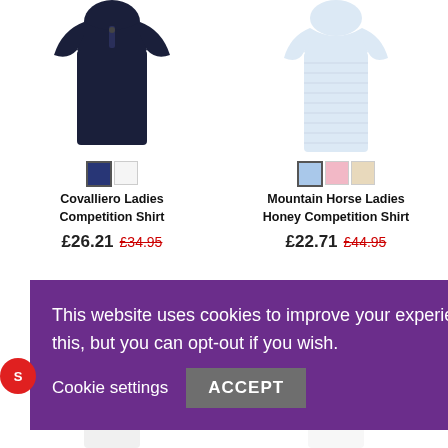[Figure (photo): Navy blue ladies competition shirt product photo]
[Figure (photo): Light blue/white ladies competition shirt product photo]
Covalliero Ladies Competition Shirt
Mountain Horse Ladies Honey Competition Shirt
£26.21  £34.95
£22.71  £44.95
This website uses cookies to improve your experience. We'll assume you're ok with this, but you can opt-out if you wish.   Cookie settings   ACCEPT
[Figure (photo): Partial view of a white ladies shirt at bottom left]
[Figure (photo): Partial view of a white ladies shirt at bottom right]